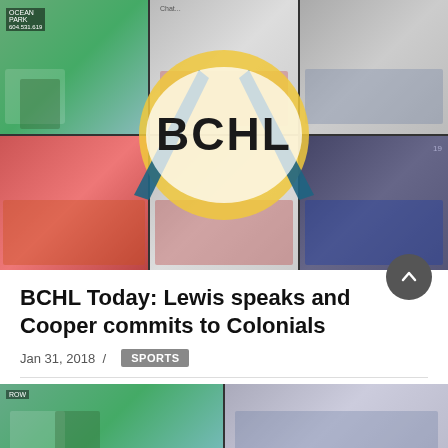[Figure (photo): BCHL hockey collage banner image showing six hockey game photos with BCHL logo overlay in the center]
BCHL Today: Lewis speaks and Cooper commits to Colonials
Jan 31, 2018  /  SPORTS
[Figure (photo): Partial hockey collage photo at the bottom of the page]